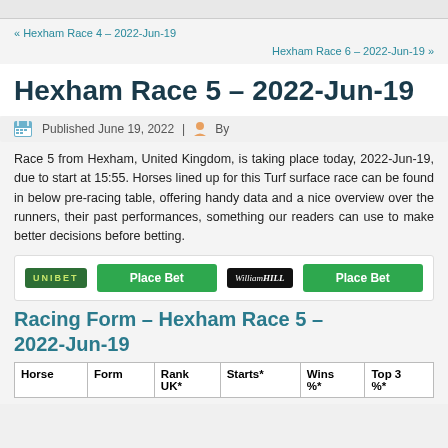« Hexham Race 4 – 2022-Jun-19
Hexham Race 6 – 2022-Jun-19 »
Hexham Race 5 – 2022-Jun-19
Published June 19, 2022 | By
Race 5 from Hexham, United Kingdom, is taking place today, 2022-Jun-19, due to start at 15:55. Horses lined up for this Turf surface race can be found in below pre-racing table, offering handy data and a nice overview over the runners, their past performances, something our readers can use to make better decisions before betting.
[Figure (other): Unibet and William Hill betting buttons with Place Bet CTAs]
Racing Form – Hexham Race 5 – 2022-Jun-19
| Horse | Form | Rank UK* | Starts* | Wins %* | Top 3 %* |
| --- | --- | --- | --- | --- | --- |